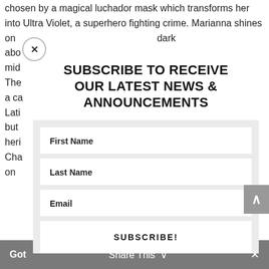chosen by a magical luchador mask which transforms her into Ultra Violet, a superhero fighting crime. Marianna shines on [...]  dark abo[...] of her mid[...] ilities. The[...] turing a ca[...] where Lati[...] era but [...] tinx heri[...] ey Cha[...] ney + on [...]
SUBSCRIBE TO RECEIVE OUR LATEST NEWS & ANNOUNCEMENTS
First Name
Last Name
Email
SUBSCRIBE!
Got  Share This  ×